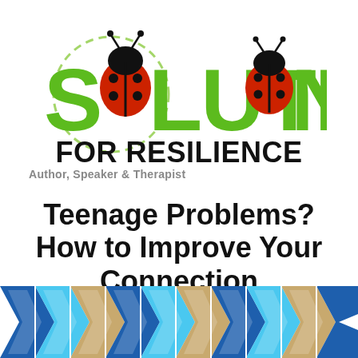[Figure (logo): Solutions for Resilience logo with ladybug replacing the letter O in SOLUTIONS, green lettering, and FOR RESILIENCE in bold black text below]
Author, Speaker & Therapist
Teenage Problems? How to Improve Your Connection
[Figure (illustration): Decorative geometric chevron/arrow pattern in blue, light blue, and tan/gold colors on white background]